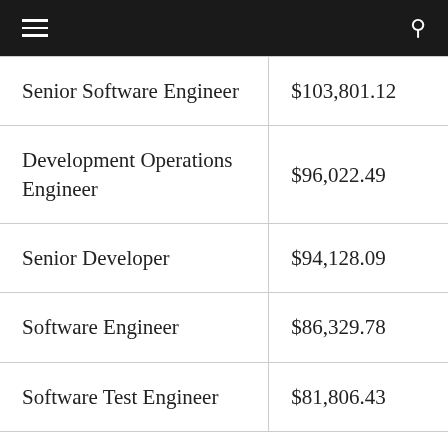| Job Title | Salary |
| --- | --- |
| Senior Software Engineer | $103,801.12 |
| Development Operations Engineer | $96,022.49 |
| Senior Developer | $94,128.09 |
| Software Engineer | $86,329.78 |
| Software Test Engineer | $81,806.43 |